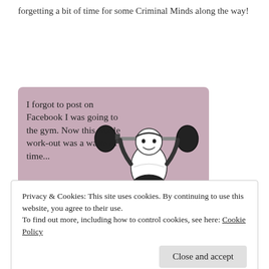forgetting a bit of time for some Criminal Minds along the way!
[Figure (illustration): A meme card with mauve/dusty pink background. Left side shows text: 'I forgot to post on Facebook I was going to the gym. Now this whole work-out was a waste of time...' Right side has a black-and-white illustration of a heavyset person squatting with a heavy barbell on their shoulders.]
Privacy & Cookies: This site uses cookies. By continuing to use this website, you agree to their use.
To find out more, including how to control cookies, see here: Cookie Policy
Close and accept